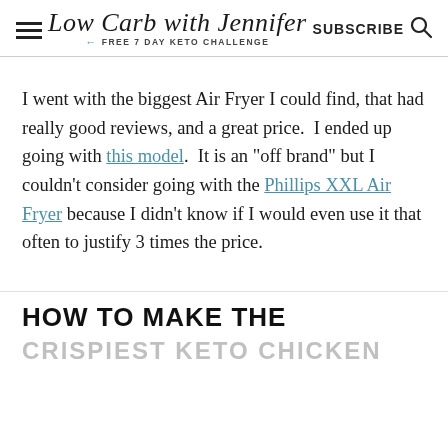Low Carb with Jennifer — FREE 7 DAY KETO CHALLENGE | SUBSCRIBE
I went with the biggest Air Fryer I could find, that had really good reviews, and a great price.  I ended up going with this model.  It is an "off brand" but I couldn't consider going with the Phillips XXL Air Fryer because I didn't know if I would even use it that often to justify 3 times the price.
HOW TO MAKE THE
CRISPIEST KETO CHICKEN